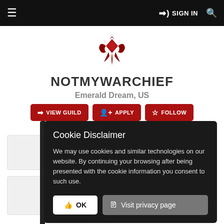≡   ➔) SIGN IN   🔍
[Figure (logo): World of Warcraft Horde faction logo in dark red]
NOTMYWARCHIEF
Emerald Dream, US
➔ VIEW GUILD   👤+ APPLY   ☆ FOLLOW
Cookie Disclaimer
We may use cookies and similar technologies on our website. By continuing your browsing after being presented with the cookie information you consent to such use.
👍 OK   Visit privacy page
186.9